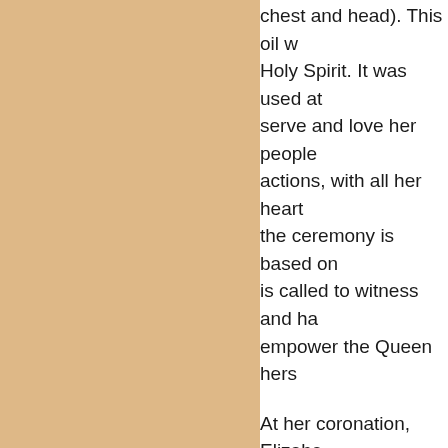[Figure (photo): Beige/tan colored rectangular panel occupying the left portion of the page]
chest and head). This oil was blessed by the Holy Spirit. It was used at her coronation to serve and love her people through words and actions, with all her heart. The anointing in the ceremony is based on the idea that the nation is called to witness and have a role to empower the Queen herself.

At her coronation, Elizabeth was set apart, for example, to be set apart to God. Just before the anointing, St Edward's Chair was placed over her head. This is how the Holy Spirit anoints the birth of a new reign. A number of people said that the Queen found the anointing to be not only the most significant but also the most solemn and important part of